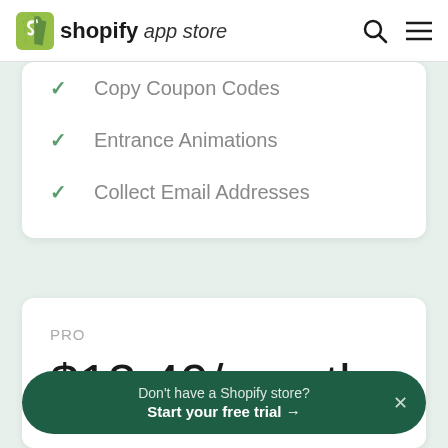shopify app store
Copy Coupon Codes
Entrance Animations
Collect Email Addresses
PRO
$13.49/month
Don't have a Shopify store? Start your free trial →